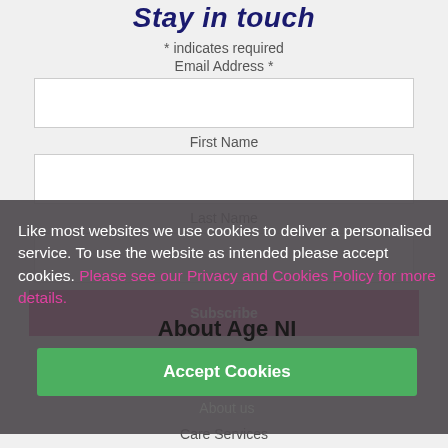Stay in touch
* indicates required
Email Address *
First Name
Last Name
Subscribe
Like most websites we use cookies to deliver a personalised service. To use the website as intended please accept cookies. Please see our Privacy and Cookies Policy for more details.
About Age NI
Accept Cookies
About us
Care Services